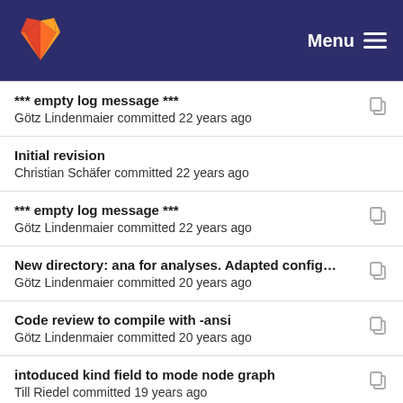GitLab — Menu
*** empty log message ***
Götz Lindenmaier committed 22 years ago
Initial revision
Christian Schäfer committed 22 years ago
*** empty log message ***
Götz Lindenmaier committed 22 years ago
New directory: ana for analyses. Adapted configur...
Götz Lindenmaier committed 20 years ago
Code review to compile with -ansi
Götz Lindenmaier committed 20 years ago
intoduced kind field to mode node graph
Till Riedel committed 19 years ago
Added irg field to start, more verbose irdump
Götz Lindenmaier committed 19 years ago
Imprint